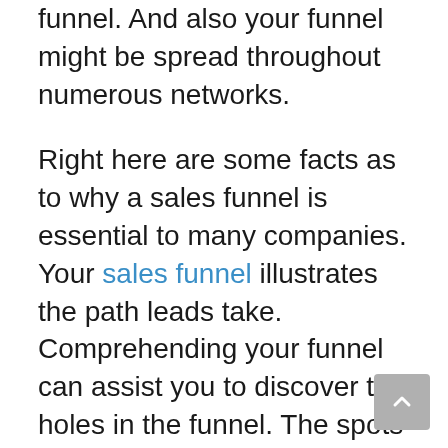funnel. And also your funnel might be spread throughout numerous networks.
Right here are some facts as to why a sales funnel is essential to many companies. Your sales funnel illustrates the path leads take. Comprehending your funnel can assist you to discover the holes in the funnel. The spots where prospects leave and also never transform.
If you don't comprehend your sales funnel, you can't maximize it. You will need to enter into the specifics of exactly how the funnel jobs below.